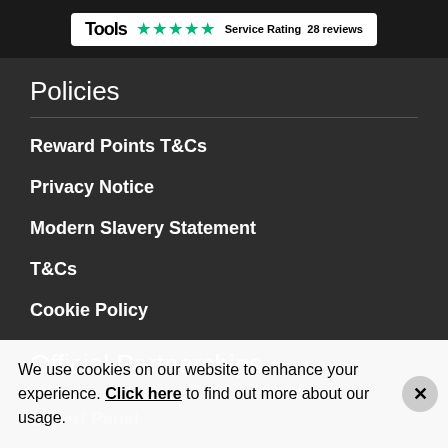[Figure (logo): Trustpilot logo with star rating and '28 reviews' text, Service Rating label, shown in a white box on dark banner]
Policies
Reward Points T&Cs
Privacy Notice
Modern Slavery Statement
T&Cs
Cookie Policy
Official Partnerships
Expert Panel
Official Partners
Black Ferns
All Blacks
We use cookies on our website to enhance your experience. Click here to find out more about our usage.